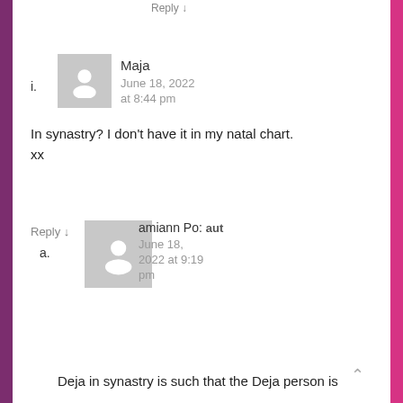Reply ↓
i.
Maja
June 18, 2022
at 8:44 pm
In synastry? I don't have it in my natal chart.
xx
Reply ↓
a.
amiann Po: aut
June 18, 2022 at 9:19 pm
Deja in synastry is such that the Deja person is